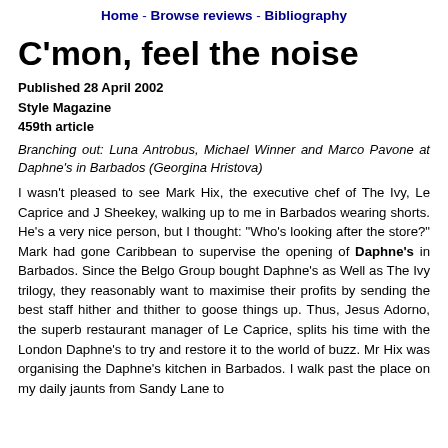Home - Browse reviews - Bibliography
C'mon, feel the noise
Published 28 April 2002
Style Magazine
459th article
Branching out: Luna Antrobus, Michael Winner and Marco Pavone at Daphne's in Barbados (Georgina Hristova)
I wasn't pleased to see Mark Hix, the executive chef of The Ivy, Le Caprice and J Sheekey, walking up to me in Barbados wearing shorts. He's a very nice person, but I thought: "Who's looking after the store?" Mark had gone Caribbean to supervise the opening of Daphne's in Barbados. Since the Belgo Group bought Daphne's as Well as The Ivy trilogy, they reasonably want to maximise their profits by sending the best staff hither and thither to goose things up. Thus, Jesus Adorno, the superb restaurant manager of Le Caprice, splits his time with the London Daphne's to try and restore it to the world of buzz. Mr Hix was organising the Daphne's kitchen in Barbados. I walk past the place on my daily jaunts from Sandy Lane to